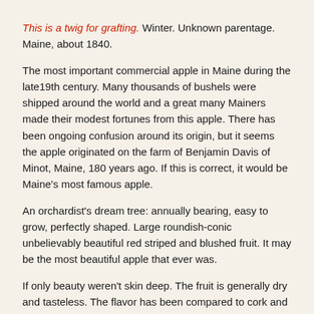This is a twig for grafting. Winter. Unknown parentage. Maine, about 1840.
The most important commercial apple in Maine during the late19th century. Many thousands of bushels were shipped around the world and a great many Mainers made their modest fortunes from this apple. There has been ongoing confusion around its origin, but it seems the apple originated on the farm of Benjamin Davis of Minot, Maine, 180 years ago. If this is correct, it would be Maine's most famous apple.
An orchardist's dream tree: annually bearing, easy to grow, perfectly shaped. Large roundish-conic unbelievably beautiful red striped and blushed fruit. It may be the most beautiful apple that ever was.
If only beauty weren't skin deep. The fruit is generally dry and tasteless. The flavor has been compared to cork and cardboard and is the butt of many jokes.
We offer it as a service to the Ben Davis die-hards of the world. Keeps all winter. Enjoy! Z4.